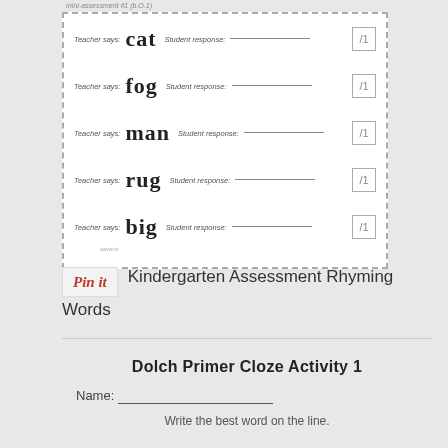mini-assessment #1 (b.O.1)
[Figure (other): Assessment card with dashed border containing 5 rows: Teacher says cat/fog/man/rug/big with student response lines and score boxes marked /1]
Pin it | Kindergarten Assessment Rhyming Words
Dolch Primer Cloze Activity 1
Name:
Write the best word on the line.